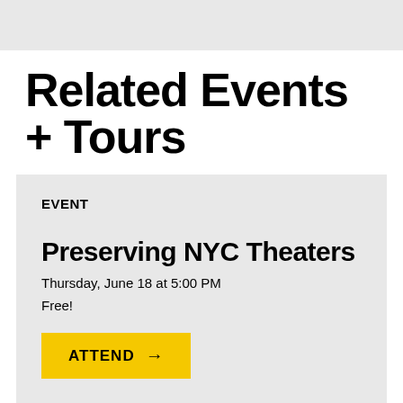Related Events + Tours
EVENT
Preserving NYC Theaters
Thursday, June 18 at 5:00 PM
Free!
ATTEND →